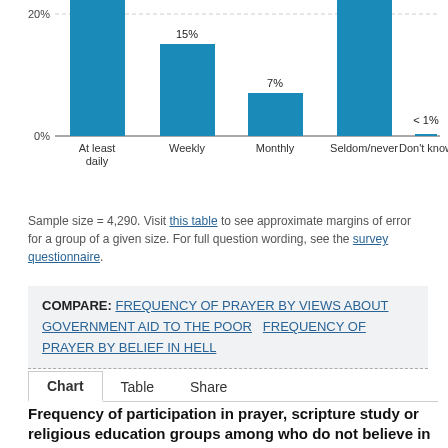[Figure (bar-chart): Frequency of participation in prayer, scripture study or religious education groups]
Sample size = 4,290. Visit this table to see approximate margins of error for a group of a given size. For full question wording, see the survey questionnaire.
COMPARE: FREQUENCY OF PRAYER BY VIEWS ABOUT GOVERNMENT AID TO THE POOR   FREQUENCY OF PRAYER BY BELIEF IN HELL
Chart   Table   Share
Frequency of participation in prayer, scripture study or religious education groups among who do not believe in Hell who say government aid to the poor